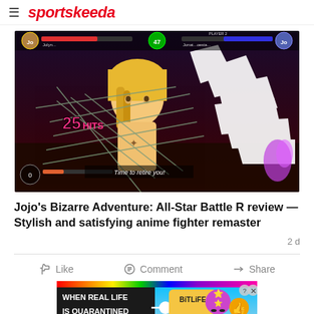sportskeeda
[Figure (screenshot): Screenshot from Jojo's Bizarre Adventure: All-Star Battle R video game showing a fighting scene with a blonde character wrapped in wires, with '25 HITS' text, health bars, and 'Time to retire you!' subtitle]
Jojo's Bizarre Adventure: All-Star Battle R review — Stylish and satisfying anime fighter remaster
2 d
[Figure (screenshot): BitLife advertisement banner reading 'WHEN REAL LIFE IS QUARANTINED' with BitLife logo and game character icons]